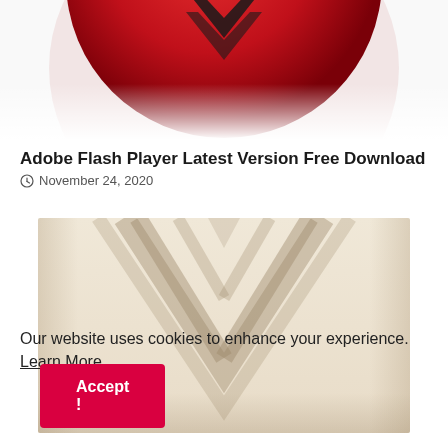[Figure (photo): Close-up of a red ball with black graphic, cropped at top]
Adobe Flash Player Latest Version Free Download
November 24, 2020
[Figure (photo): Beige/cream colored surface with embossed V-shaped geometric design]
Our website uses cookies to enhance your experience. Learn More
Accept !